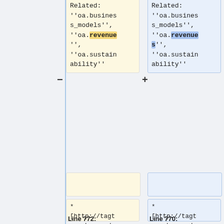Related: ''oa.business_models'', ''oa.revenue'', ''oa.sustainability''
Related: ''oa.business_models'', ''oa.revenues'', ''oa.sustainability''
* [http://tagteam.harvard.edu/hubs/oatp/tag/oa.metadata oa.metadata] = for OA-related items about metadata
* [http://tagteam.harvard.edu/hubs/oatp/tag/oa.metadata oa.metadata] = for OA-related items about metadata
Line 772:
Line 770: